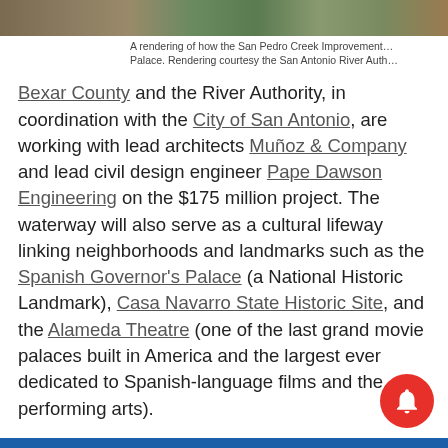[Figure (photo): Partial view of a rendering showing the San Pedro Creek Improvement project near the Spanish Governor's Palace. A colorful outdoor scene.]
A rendering of how the San Pedro Creek Improvement project will look near the Spanish Governor's Palace. Rendering courtesy the San Antonio River Authority.
Bexar County and the River Authority, in coordination with the City of San Antonio, are working with lead architects Muñoz & Company and lead civil design engineer Pape Dawson Engineering on the $175 million project. The waterway will also serve as a cultural lifeway linking neighborhoods and landmarks such as the Spanish Governor's Palace (a National Historic Landmark), Casa Navarro State Historic Site, and the Alameda Theatre (one of the last grand movie palaces built in America and the largest ever dedicated to Spanish-language films and the performing arts).